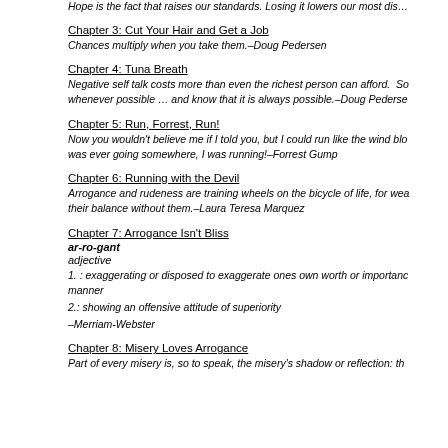Hope is the fact that raises our standards. Losing it lowers our…
Chapter 3: Cut Your Hair and Get a Job
Chances multiply when you take them.–Doug Pedersen
Chapter 4: Tuna Breath
Negative self talk costs more than even the richest person can afford. So whenever possible … and know that it is always possible.–Doug Pederse
Chapter 5: Run, Forrest, Run!
Now you wouldn't believe me if I told you, but I could run like the wind blo was ever going somewhere, I was running!–Forrest Gump
Chapter 6: Running with the Devil
Arrogance and rudeness are training wheels on the bicycle of life, for wea their balance without them.–Laura Teresa Marquez
Chapter 7: Arrogance Isn't Bliss
ar-ro-gant
adjective
1. : exaggerating or disposed to exaggerate ones own worth or importanc manner
2.: showing an offensive attitude of superiority
–Merriam-Webster
Chapter 8: Misery Loves Arrogance
Part of every misery is, so to speak, the misery's shadow or reflection: th